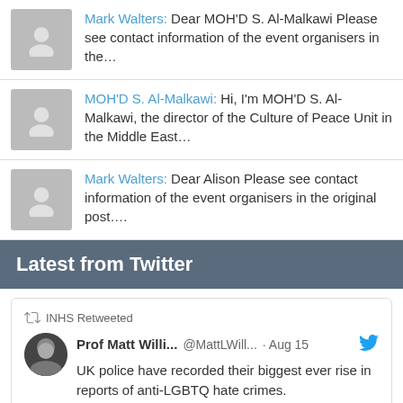Mark Walters: Dear MOH'D S. Al-Malkawi Please see contact information of the event organisers in the…
MOH'D S. Al-Malkawi: Hi, I'm MOH'D S. Al-Malkawi, the director of the Culture of Peace Unit in the Middle East…
Mark Walters: Dear Alison Please see contact information of the event organisers in the original post….
Latest from Twitter
INHS Retweeted
Prof Matt Willi... @MattLWill... · Aug 15 — UK police have recorded their biggest ever rise in reports of anti-LGBTQ hate crimes.

Since last year, homophobic reports have by 32% & transphobic reports by 59%…